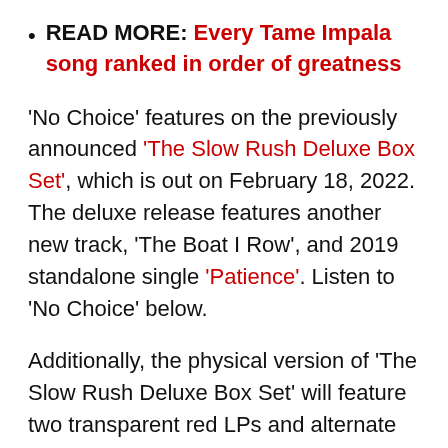READ MORE: Every Tame Impala song ranked in order of greatness
'No Choice' features on the previously announced 'The Slow Rush Deluxe Box Set', which is out on February 18, 2022. The deluxe release features another new track, 'The Boat I Row', and 2019 standalone single 'Patience'. Listen to 'No Choice' below.
Additionally, the physical version of 'The Slow Rush Deluxe Box Set' will feature two transparent red LPs and alternate artwork including a 40-page booklet and 'The Slow Rush' calendar. The box set is available for pre-order